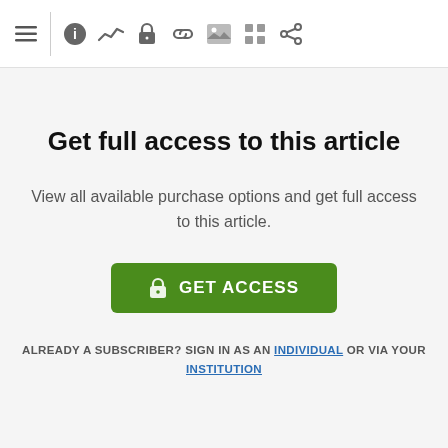[Figure (screenshot): Toolbar with navigation icons: hamburger menu, info, line chart, lock, link, image, grid, share]
Get full access to this article
View all available purchase options and get full access to this article.
GET ACCESS (button)
ALREADY A SUBSCRIBER? SIGN IN AS AN INDIVIDUAL OR VIA YOUR INSTITUTION